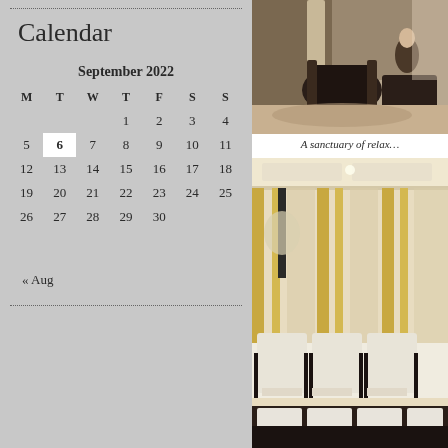Calendar
| M | T | W | T | F | S | S |
| --- | --- | --- | --- | --- | --- | --- |
|  |  |  | 1 | 2 | 3 | 4 |
| 5 | 6 | 7 | 8 | 9 | 10 | 11 |
| 12 | 13 | 14 | 15 | 16 | 17 | 18 |
| 19 | 20 | 21 | 22 | 23 | 24 | 25 |
| 26 | 27 | 28 | 29 | 30 |  |  |
« Aug
[Figure (photo): Luxury hotel lounge with dark leather chairs and marble columns]
A sanctuary of relax…
[Figure (photo): Luxury spa or salon interior with white booth seating, gold columns, and marble surfaces]